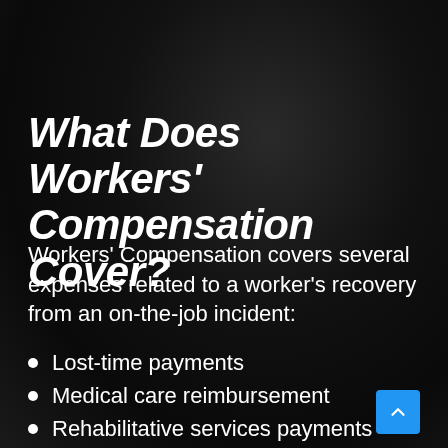What Does Workers' Compensation Cover?
Workers' Compensation covers several expenses related to a worker's recovery from an on-the-job incident:
Lost-time payments
Medical care reimbursement
Rehabilitative services payments